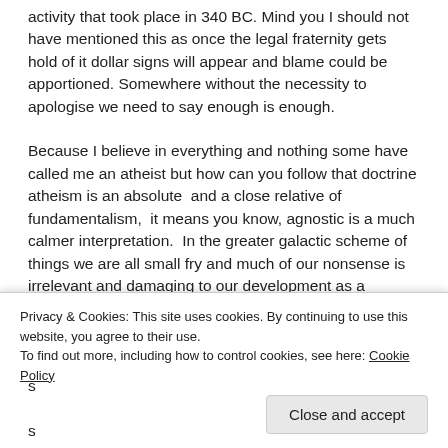activity that took place in 340 BC. Mind you I should not have mentioned this as once the legal fraternity gets hold of it dollar signs will appear and blame could be apportioned. Somewhere without the necessity to apologise we need to say enough is enough.
Because I believe in everything and nothing some have called me an atheist but how can you follow that doctrine atheism is an absolute  and a close relative of fundamentalism,  it means you know, agnostic is a much calmer interpretation.  In the greater galactic scheme of things we are all small fry and much of our nonsense is irrelevant and damaging to our development as a successful species. Unfortunately many of our leaders are intellectual minnows. Religions and Celebs
Privacy & Cookies: This site uses cookies. By continuing to use this website, you agree to their use.
To find out more, including how to control cookies, see here: Cookie Policy
Close and accept